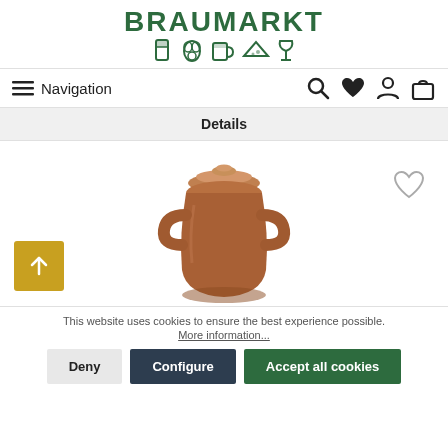[Figure (logo): BRAUMARKT logo with green text and beer/food icons below]
Navigation
Details
[Figure (photo): Brown ceramic stoneware crock/jar with lid and handles on white background]
This website uses cookies to ensure the best experience possible. More information...
Deny | Configure | Accept all cookies